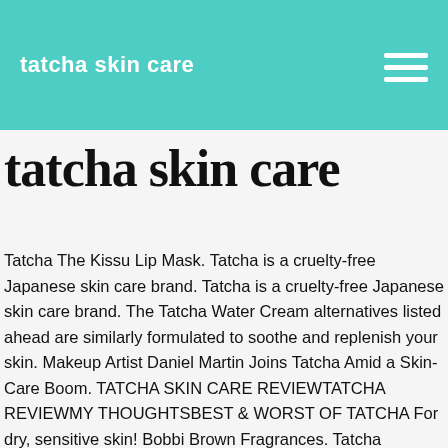tatcha skin care
tatcha skin care
Tatcha The Kissu Lip Mask. Tatcha is a cruelty-free Japanese skin care brand. Tatcha is a cruelty-free Japanese skin care brand. The Tatcha Water Cream alternatives listed ahead are similarly formulated to soothe and replenish your skin. Makeup Artist Daniel Martin Joins Tatcha Amid a Skin-Care Boom. TATCHA SKIN CARE REVIEWTATCHA REVIEWMY THOUGHTSBEST & WORST OF TATCHA For dry, sensitive skin! Bobbi Brown Fragrances. Tatcha Luminous Dewy Skin Mist Travel Size, 12ml | 0.4 fl.oz. Tatcha Skin Care Serums Tatcha Violet C Skin Brightening Serum – Packed with two